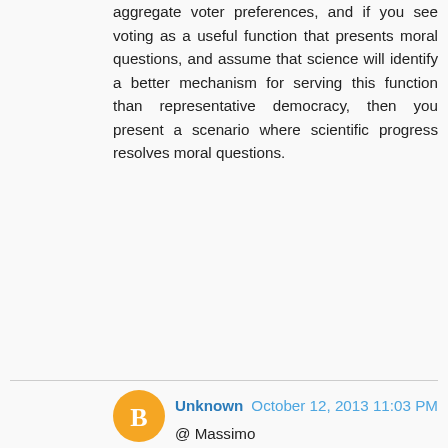aggregate voter preferences, and if you see voting as a useful function that presents moral questions, and assume that science will identify a better mechanism for serving this function than representative democracy, then you present a scenario where scientific progress resolves moral questions.
Unknown  October 12, 2013 11:03 PM
@ Massimo
> No, because he is employing the term in a way that doesn't accord to scientists', philosophers' or even laypersons' usage, so he is simply committing a fallacy of equivocation, and he needs to be called on it. <
Do you think that argument will sway him to part with $20,000 and publicly recant?
Reply